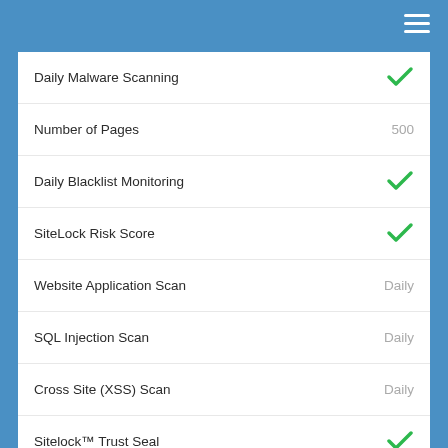| Feature | Value |
| --- | --- |
| Daily Malware Scanning | ✓ |
| Number of Pages | 500 |
| Daily Blacklist Monitoring | ✓ |
| SiteLock Risk Score | ✓ |
| Website Application Scan | Daily |
| SQL Injection Scan | Daily |
| Cross Site (XSS) Scan | Daily |
| Sitelock™ Trust Seal | ✓ |
| Daily SMART Scans | ✓ |
| Automatic Malware Removal | ✓ |
| TrueShield Protection | ✓ |
| WordPress Scan | ✓ |
| Spam Blacklist Monitoring | ✓ |
1 tháng - Tk 1259.66/tháng